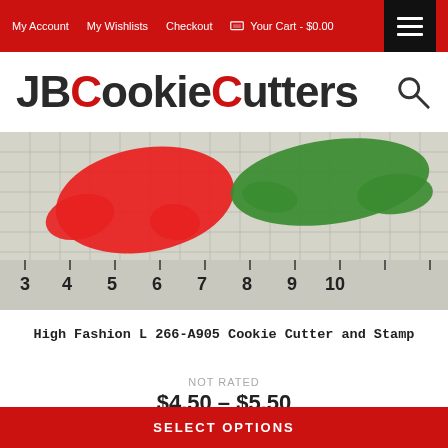My Account   My Wishlists   Checkout   Your Cart - $0.00
JBCookieCutters
[Figure (photo): Photo of two cookie cutters (one red, one green) shaped like alligators/crocodiles placed on a grid/ruler measuring mat showing measurements from 3 to 10]
High Fashion L 266-A905 Cookie Cutter and Stamp
NOT RATED
$4.50 - $5.50
SELECT OPTIONS